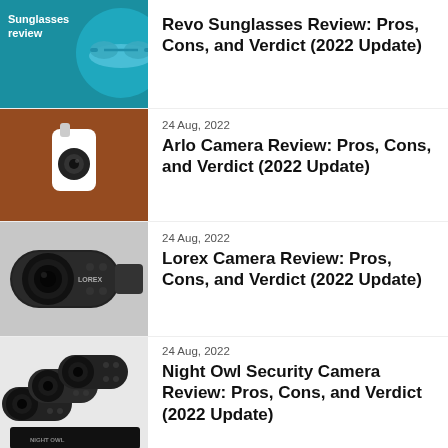[Figure (photo): Revo sunglasses product image on teal background with text 'Sunglasses review']
Revo Sunglasses Review: Pros, Cons, and Verdict (2022 Update)
[Figure (photo): Arlo security camera mounted on a wall, white camera on brown brick background]
24 Aug, 2022
Arlo Camera Review: Pros, Cons, and Verdict (2022 Update)
[Figure (photo): Lorex bullet security camera close-up with lens and IR LEDs visible, LOREX text on camera]
24 Aug, 2022
Lorex Camera Review: Pros, Cons, and Verdict (2022 Update)
[Figure (photo): Night Owl security cameras, multiple bullet cameras shown with Night Owl branding]
24 Aug, 2022
Night Owl Security Camera Review: Pros, Cons, and Verdict (2022 Update)